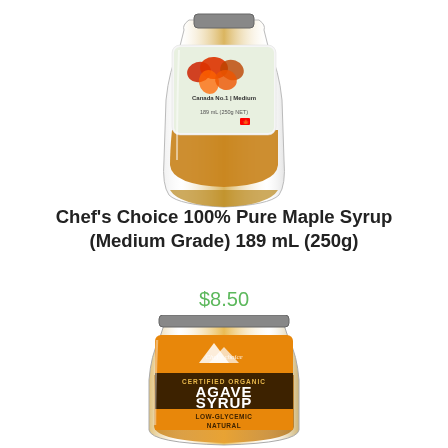[Figure (photo): A glass bottle/jar of Chef's Choice 100% Pure Maple Syrup, Medium Grade, 189mL (250g NET), Canada No.1, with maple leaf label design]
Chef's Choice 100% Pure Maple Syrup (Medium Grade) 189 mL (250g)
$8.50
[Figure (photo): A glass jar of Chef's Choice Certified Organic Agave Syrup, Low-Glycemic Natural, with orange and dark brown label showing mountain logo]